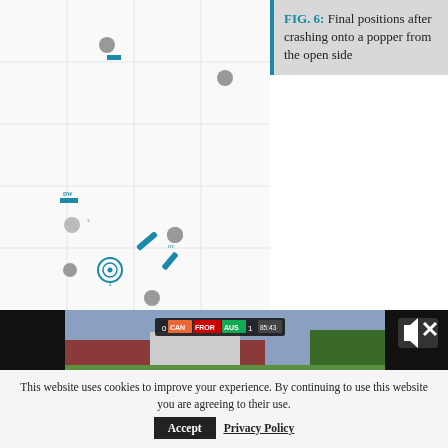[Figure (infographic): Sports field diagram showing final positions of players after crashing onto a popper from the open side. Blue and grey circular/rectangular markers on a grid background representing a field, with blue player icons and grey player dots scattered across the lower-left portion of the field.]
FIG. 6: Final positions after crashing onto a popper from the open side
[Figure (screenshot): Screenshot of a sports video player showing a rugby/football match between CAN and AUS, score 0-1, time 85:43. The video shows a stadium with green pitch. A mute icon with X is visible in the top right of the video.]
This website uses cookies to improve your experience. By continuing to use this website you are agreeing to their use. Accept Privacy Policy